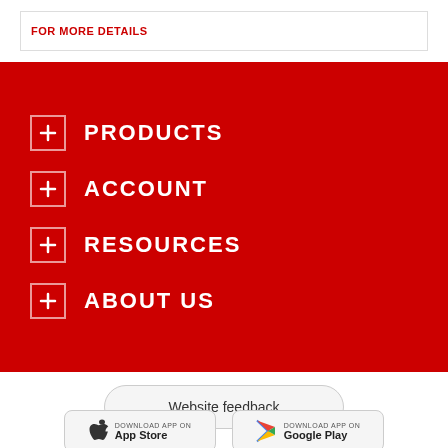FOR MORE DETAILS
+ PRODUCTS
+ ACCOUNT
+ RESOURCES
+ ABOUT US
Website feedback
DOWNLOAD APP ON App Store
DOWNLOAD APP ON Google Play